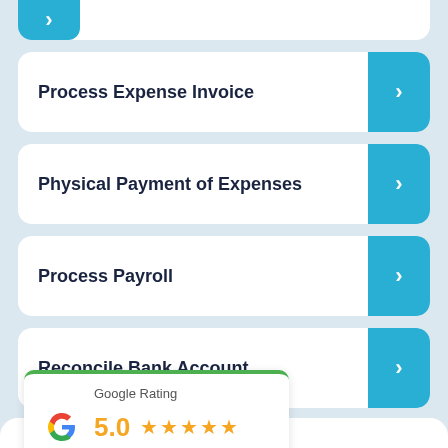Process Expense Invoice
Physical Payment of Expenses
Process Payroll
Reconcile Bank Account
[Figure (other): Google Rating widget showing 5.0 stars based on 35 reviews]
T...